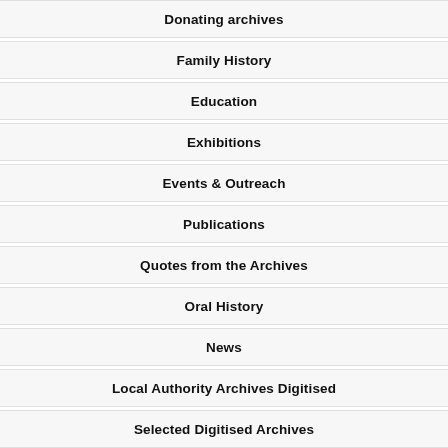Donating archives
Family History
Education
Exhibitions
Events & Outreach
Publications
Quotes from the Archives
Oral History
News
Local Authority Archives Digitised
Selected Digitised Archives
Digitised Archives on War of Independence